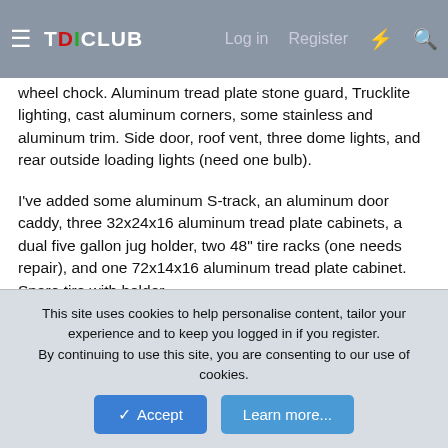TDICLUB | Log in | Register
wheel chock. Aluminum tread plate stone guard, Trucklite lighting, cast aluminum corners, some stainless and aluminum trim. Side door, roof vent, three dome lights, and rear outside loading lights (need one bulb).
I've added some aluminum S-track, an aluminum door caddy, three 32x24x16 aluminum tread plate cabinets, a dual five gallon jug holder, two 48" tire racks (one needs repair), and one 72x14x16 aluminum tread plate cabinet. Spare tire with holder.
Finally, I have a full weight distribution set up. Includes 1200# torsion bars, the new high performance dynamic sway control, cast bar & trunion with 2 5/16" ball.
Could use one tire, but my spare is new. Could be swapped
This site uses cookies to help personalise content, tailor your experience and to keep you logged in if you register.
By continuing to use this site, you are consenting to our use of cookies.